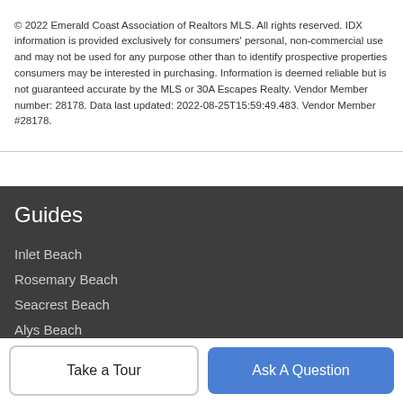© 2022 Emerald Coast Association of Realtors MLS. All rights reserved. IDX information is provided exclusively for consumers' personal, non-commercial use and may not be used for any purpose other than to identify prospective properties consumers may be interested in purchasing. Information is deemed reliable but is not guaranteed accurate by the MLS or 30A Escapes Realty. Vendor Member number: 28178. Data last updated: 2022-08-25T15:59:49.483. Vendor Member #28178.
Guides
Inlet Beach
Rosemary Beach
Seacrest Beach
Alys Beach
Take a Tour
Ask A Question